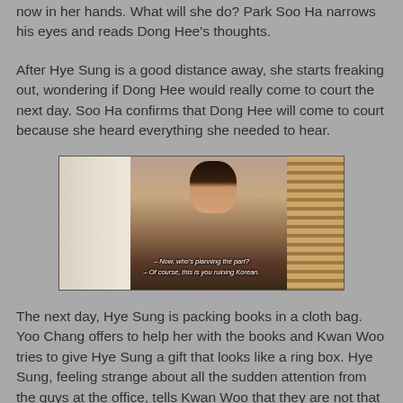now in her hands. What will she do? Park Soo Ha narrows his eyes and reads Dong Hee's thoughts.
After Hye Sung is a good distance away, she starts freaking out, wondering if Dong Hee would really come to court the next day. Soo Ha confirms that Dong Hee will come to court because she heard everything she needed to hear.
[Figure (screenshot): TV drama screenshot showing a woman facing the camera with a man seen from behind on the left side. Venetian blinds visible in background. Subtitles read: '– Now, who's planning the part? – Of course, this is you ruining Korean.']
The next day, Hye Sung is packing books in a cloth bag. Yoo Chang offers to help her with the books and Kwan Woo tries to give Hye Sung a gift that looks like a ring box. Hye Sung, feeling strange about all the sudden attention from the guys at the office, tells Kwan Woo that they are not that close, but Kwan Woo insists that she accept it. Kwan Woo says it's